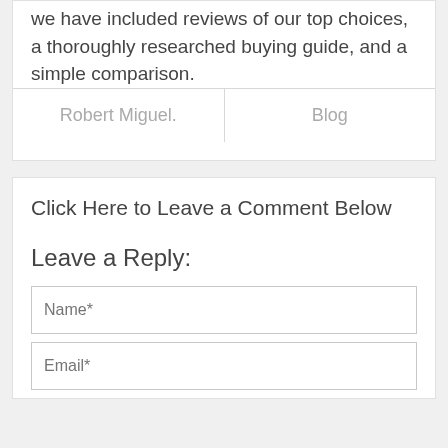we have included reviews of our top choices, a thoroughly researched buying guide, and a simple comparison.
| Robert Miguel. | Blog |
Click Here to Leave a Comment Below
Leave a Reply:
Name*
Email*